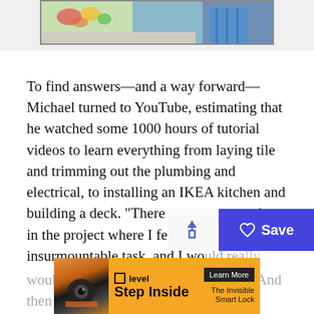[Figure (photo): Partial photo at top of page showing a kitchen scene with colorful vegetables/food on a counter and a person in a blue plaid shirt]
To find answers—and a way forward—Michael turned to YouTube, estimating that he watched some 1000 hours of tutorial videos to learn everything from laying tile and trimming out the plumbing and electrical, to installing an IKEA kitchen and building a deck. "There were so many times in the project where I fe...i insurmountable task, and I wou...rea... wouldn't be able to do it," he reflects. "And then every... was totally doable."
[Figure (screenshot): Level smart lock advertisement banner with orange background showing a lock device, 'level Step Inside' text, and a 'Learn More / The Invisible Smart Lock' button]